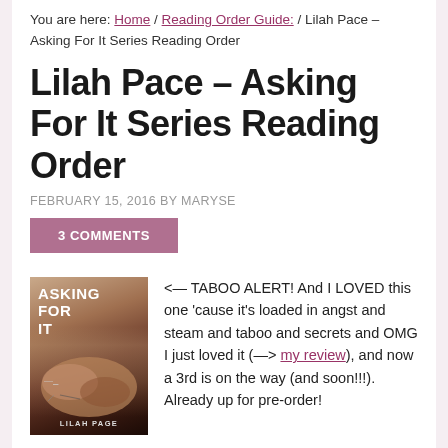You are here: Home / Reading Order Guide: / Lilah Pace – Asking For It Series Reading Order
Lilah Pace – Asking For It Series Reading Order
FEBRUARY 15, 2016 BY MARYSE
3 COMMENTS
[Figure (photo): Book cover of 'Asking For It' by Lilah Pace, showing intertwined hands on a dark background]
<— TABOO ALERT! And I LOVED this one 'cause it's loaded in angst and steam and taboo and secrets and OMG I just loved it (—> my review), and now a 3rd is on the way (and soon!!!). Already up for pre-order!